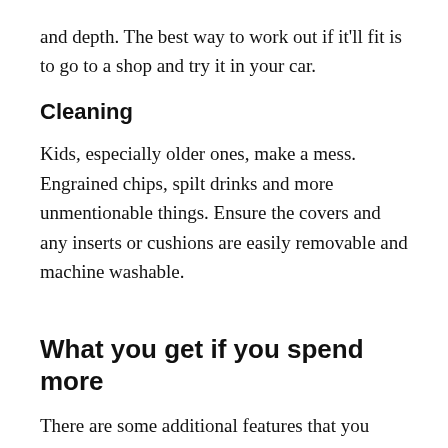and depth. The best way to work out if it'll fit is to go to a shop and try it in your car.
Cleaning
Kids, especially older ones, make a mess. Engrained chips, spilt drinks and more unmentionable things. Ensure the covers and any inserts or cushions are easily removable and machine washable.
What you get if you spend more
There are some additional features that you might get